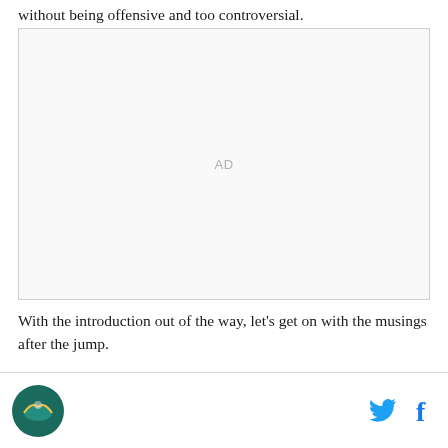without being offensive and too controversial.
[Figure (other): Advertisement placeholder box with 'AD' label]
With the introduction out of the way, let's get on with the musings after the jump.
Site logo icon and social media icons (Twitter, Facebook)